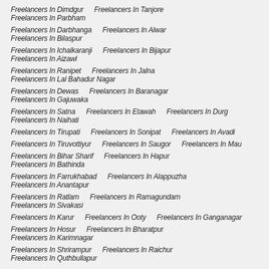Freelancers In Dimdgur   Freelancers In Tanjore   Freelancers In Parbham
Freelancers In Darbhanga   Freelancers In Alwar   Freelancers In Bilaspur
Freelancers In Ichalkaranji   Freelancers In Bijapur   Freelancers In Aizawl
Freelancers In Ranipet   Freelancers In Jalna   Freelancers In Lal Bahadur Nagar
Freelancers In Dewas   Freelancers In Baranagar   Freelancers In Gajuwaka
Freelancers In Satna   Freelancers In Etawah   Freelancers In Durg   Freelancers In Naihati
Freelancers In Tirupati   Freelancers In Sonipat   Freelancers In Avadi
Freelancers In Tiruvottiyur   Freelancers In Saugor   Freelancers In Mau
Freelancers In Bihar Sharif   Freelancers In Hapur   Freelancers In Bathinda
Freelancers In Farrukhabad   Freelancers In Alappuzha   Freelancers In Anantapur
Freelancers In Ratlam   Freelancers In Ramagundam   Freelancers In Sivakasi
Freelancers In Karur   Freelancers In Ooty   Freelancers In Ganganagar
Freelancers In Hosur   Freelancers In Bharatpur   Freelancers In Karimnagar
Freelancers In Shrirampur   Freelancers In Raichur   Freelancers In Quthbullapur